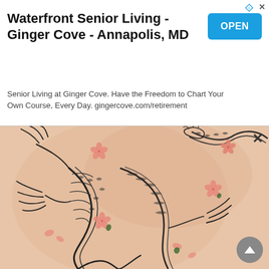Waterfront Senior Living - Ginger Cove - Annapolis, MD
Senior Living at Ginger Cove. Have the Freedom to Chart Your Own Course, Every Day. gingercove.com/retirement
[Figure (photo): Photograph of a dragon tattoo with cherry blossom flowers on skin. The dragon is drawn in fine black line art with pink/red cherry blossoms scattered around it.]